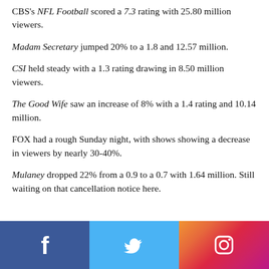CBS's NFL Football scored a 7.3 rating with 25.80 million viewers.
Madam Secretary jumped 20% to a 1.8 and 12.57 million.
CSI held steady with a 1.3 rating drawing in 8.50 million viewers.
The Good Wife saw an increase of 8% with a 1.4 rating and 10.14 million.
FOX had a rough Sunday night, with shows showing a decrease in viewers by nearly 30-40%.
Mulaney dropped 22% from a 0.9 to a 0.7 with 1.64 million. Still waiting on that cancellation notice here.
[Figure (other): Social media footer bar with Facebook, Twitter, and Instagram icons]